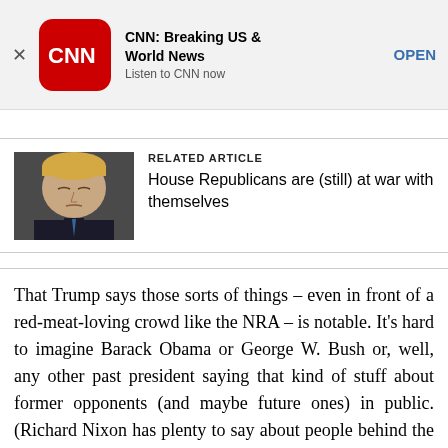[Figure (screenshot): CNN app advertisement banner with CNN logo, title 'CNN: Breaking US & World News', subtitle 'Listen to CNN now', and OPEN button]
[Figure (photo): Photo of Donald Trump with eyes closed, wearing dark suit and tie, used as thumbnail for related article]
RELATED ARTICLE
House Republicans are (still) at war with themselves
That Trump says those sorts of things – even in front of a red-meat-loving crowd like the NRA – is notable. It's hard to imagine Barack Obama or George W. Bush or, well, any other past president saying that kind of stuff about former opponents (and maybe future ones) in public. (Richard Nixon has plenty to say about people behind the scenes.)